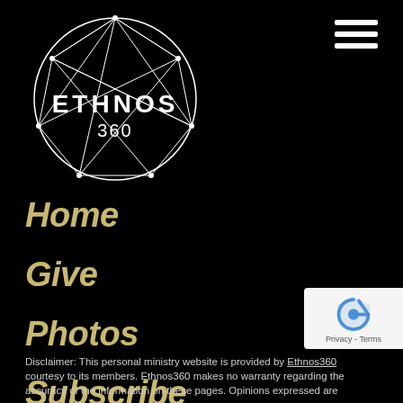[Figure (logo): Ethnos360 logo - globe/network graphic with ETHNOS 360 text]
Home
Give
Photos
Subscribe
Contact
Disclaimer: This personal ministry website is provided by Ethnos360 courtesy to its members. Ethnos360 makes no warranty regarding the accuracy of the information on these pages. Opinions expressed are